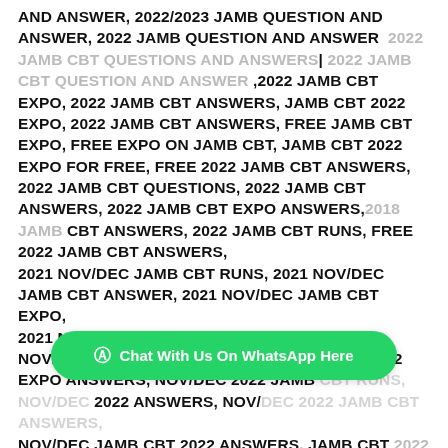AND ANSWER, 2022/2023 JAMB QUESTION AND ANSWER, 2022 JAMB QUESTION AND ANSWER [faded: 2022 JAMB CBT QUESTIONS AND ANSWERS] | [faded: 2022 JAMB CBT QUESTION AND ANSWER] ,2022 JAMB CBT EXPO, 2022 JAMB CBT ANSWERS, JAMB CBT 2022 EXPO, 2022 JAMB CBT ANSWERS, FREE JAMB CBT EXPO, FREE EXPO ON JAMB CBT, JAMB CBT 2022 EXPO FOR FREE, FREE 2022 JAMB CBT ANSWERS, 2022 JAMB CBT QUESTIONS, 2022 JAMB CBT ANSWERS, 2022 JAMB CBT EXPO ANSWERS, [faded: 2018 JAMB] CBT ANSWERS, 2022 JAMB CBT RUNS, FREE 2022 JAMB CBT ANSWERS, 2021 NOV/DEC JAMB CBT RUNS, 2021 NOV/DEC JAMB CBT ANSWER, 2021 NOV/DEC JAMB CBT EXPO, 2021 NOV/DEC JAMB CBT QUESTIONS, 2021 NOV/DEC JAMB CBT QUESTIONS, JAMB CBT 2022 EXPO ANSWERS, NOV/DEC 2022 JAMB [obscured] 2022 ANSWERS, NOV/[obscured] NOV/DEC JAMB CBT 2022 ANSWERS, JAMB CBT [faded: 2022]...
[Figure (other): WhatsApp Chat button overlay: green rounded pill button with WhatsApp icon and text 'Chat With Us On WhatsApp Here']